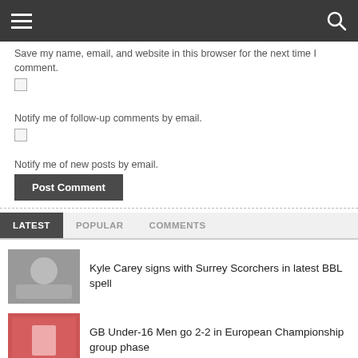Navigation bar with hamburger menu and search icon
Save my name, email, and website in this browser for the next time I comment.
Notify me of follow-up comments by email.
Notify me of new posts by email.
Post Comment
LATEST | POPULAR | COMMENTS
Kyle Carey signs with Surrey Scorchers in latest BBL spell
GB Under-16 Men go 2-2 in European Championship group phase
BBL 2022-23 rosters tracker – all the ins/outs